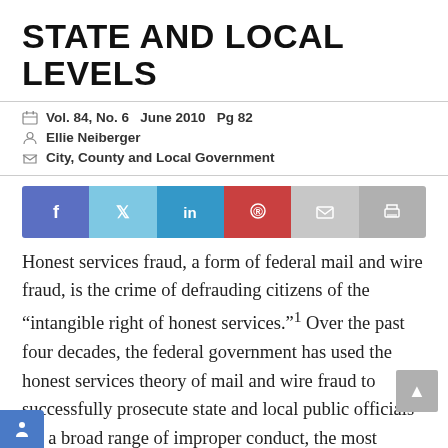STATE AND LOCAL LEVELS
Vol. 84, No. 6   June 2010   Pg 82
Ellie Neiberger
City, County and Local Government
[Figure (infographic): Social sharing bar with icons for Facebook, Twitter, LinkedIn, Pinterest, Email, and Print]
Honest services fraud, a form of federal mail and wire fraud, is the crime of defrauding citizens of the “intangible right of honest services.”¹ Over the past four decades, the federal government has used the honest services theory of mail and wire fraud to successfully prosecute state and local public officials for a broad range of improper conduct, the most controversial of which is failure to disclose conflicts of interest.²